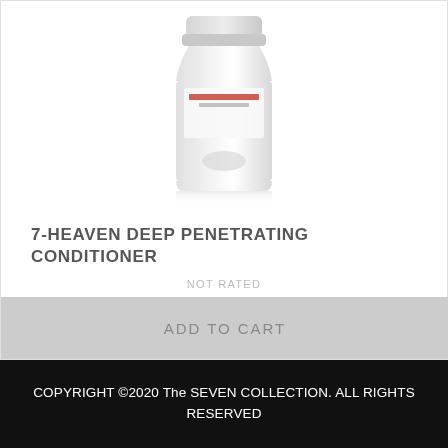[Figure (photo): White plastic hair conditioner bottle/jar with red text on a white background with reflection below]
7-HEAVEN DEEP PENETRATING CONDITIONER
NOT RATED
$17.95
ADD TO CART
COPYRIGHT ©2020 The SEVEN COLLECTION. ALL RIGHTS RESERVED